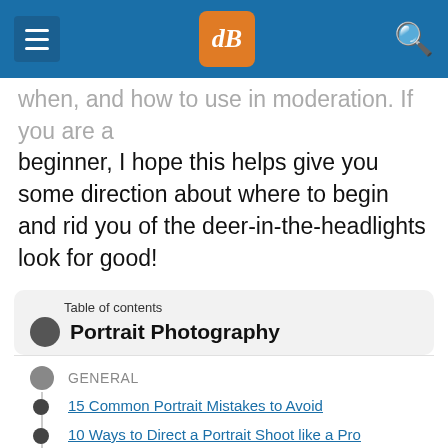dPS navigation header
when, and how to use in moderation. If you are a beginner, I hope this helps give you some direction about where to begin and rid you of the deer-in-the-headlights look for good!
Table of contents
Portrait Photography
GENERAL
15 Common Portrait Mistakes to Avoid
10 Ways to Direct a Portrait Shoot like a Pro
How to Photograph People: 7 Tips for Photographers Who Never Photograph People